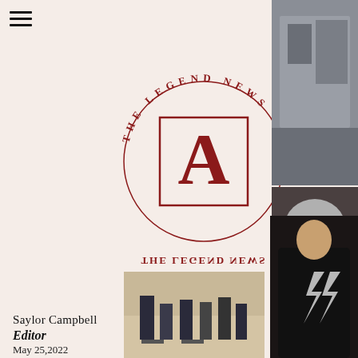[Figure (logo): The Legend News circular logo with large red letter A in a box at center, text 'THE LEGEND NEWS' arranged in a circle]
[Figure (photo): Top-right photo strip: person in store with dark clothing]
[Figure (photo): Bottom-right strip: close-up of person with short grey hair and mask]
[Figure (photo): Bottom-left: people in gymnasium, legs/feet visible]
[Figure (photo): Bottom-right: person in black outfit with lightning bolt design]
Saylor Campbell
Editor
May 25,2022
May 26, 2022, marks the end of spring semester and the beginning